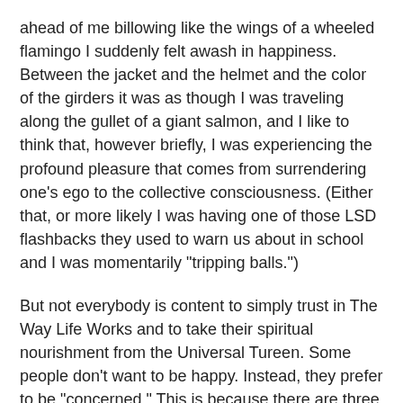ahead of me billowing like the wings of a wheeled flamingo I suddenly felt awash in happiness. Between the jacket and the helmet and the color of the girders it was as though I was traveling along the gullet of a giant salmon, and I like to think that, however briefly, I was experiencing the profound pleasure that comes from surrendering one's ego to the collective consciousness. (Either that, or more likely I was having one of those LSD flashbacks they used to warn us about in school and I was momentarily "tripping balls.")
But not everybody is content to simply trust in The Way Life Works and to take their spiritual nourishment from the Universal Tureen. Some people don't want to be happy. Instead, they prefer to be "concerned." This is because there are three main ways to deal with the nervous energy we all accumulate as we go about our affairs: the first is to ground it in the pursuit of happiness; the second is to nullify it through distractions like intoxicants and frivolous purchases and "groinal collabos" obtained under false pretenses; and the third is to project it onto others--which is what being "concerned" is. When you're "concerned," you take something you're worried about in yourself and you attempt